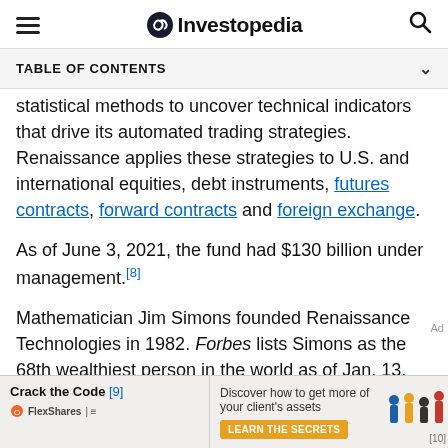Investopedia
TABLE OF CONTENTS
statistical methods to uncover technical indicators that drive its automated trading strategies. Renaissance applies these strategies to U.S. and international equities, debt instruments, futures contracts, forward contracts and foreign exchange.
As of June 3, 2021, the fund had $130 billion under management.[8]
Mathematician Jim Simons founded Renaissance Technologies in 1982. Forbes lists Simons as the 68th wealthiest person in the world as of Jan. 13, 2021,
[Figure (other): Advertisement banner: Crack the Code [9] - FlexShares - Discover how to get more of your client's assets - LEARN THE SECRETS - with illustrated figures [10]]